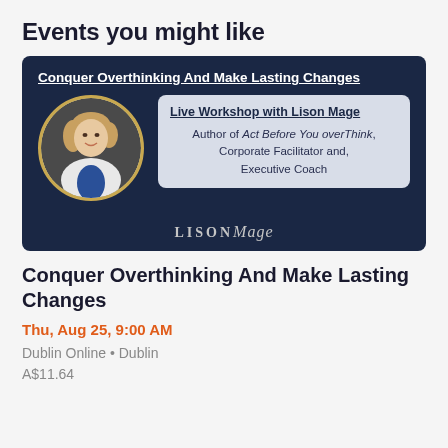Events you might like
[Figure (photo): Event promotional banner on dark navy background showing a circular portrait of a blonde woman, alongside an info box reading 'Live Workshop with Lison Mage - Author of Act Before You overThink, Corporate Facilitator and, Executive Coach'. Title reads 'Conquer Overthinking And Make Lasting Changes'. Lison Mage brand logo at bottom.]
Conquer Overthinking And Make Lasting Changes
Thu, Aug 25, 9:00 AM
Dublin Online • Dublin
A$11.64